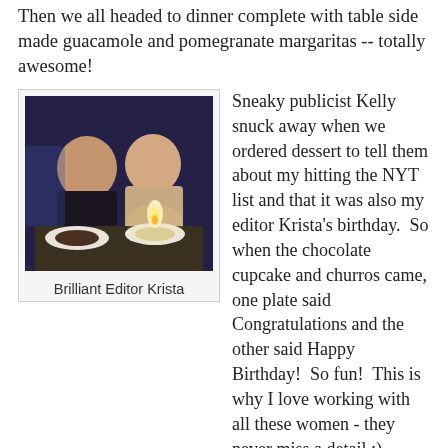Then we all headed to dinner complete with table side made guacamole and pomegranate margaritas -- totally awesome!
[Figure (photo): Two women sitting at a restaurant table with dessert plates and a candle in front of them]
Brilliant Editor Krista
Sneaky publicist Kelly snuck away when we ordered dessert to tell them about my hitting the NYT list and that it was also my editor Krista's birthday.  So when the chocolate cupcake and churros came, one plate said Congratulations and the other said Happy Birthday!  So fun!  This is why I love working with all these women - they never miss a detail :)
Friday was lunch with my agent Jim who is always so much fun to hang out with.  We grabbed sushi and caught up on everything which is just so nice to be able to do in person.  Then I signed stock at the Union Square Barnes and Noble (where I spent so much time hanging out the summer JP worked in NYC and we lived nearby).